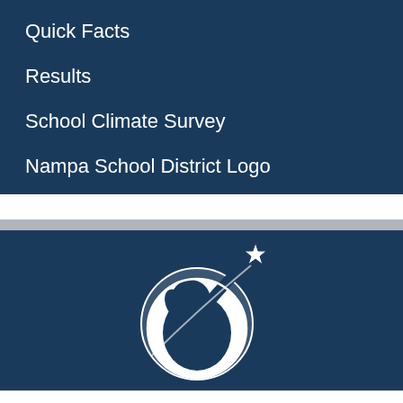Quick Facts
Results
School Climate Survey
Nampa School District Logo
[Figure (logo): Nampa School District logo: white silhouette of a child reaching up to a star, on a dark navy blue background]
Parent Portal
Staff Directory
Board
Calendar